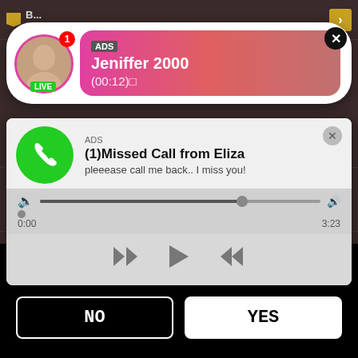[Figure (screenshot): Background app list with dark brownish rows showing bookmark-flagged video categories with play counts and gold arrow buttons]
[Figure (screenshot): Ad overlay: Live notification with woman avatar, pink gradient background, ADS label, name Jeniffer 2000, time (00:12), LIVE badge, close X button]
[Figure (screenshot): Ad overlay: Missed call notification with green phone circle icon, ADS label, title (1)Missed Call from Eliza, subtitle pleeease call me back.. I miss you!, audio player with seekbar, time 0:00 to 3:23, playback controls]
[Figure (screenshot): Age verification overlay on black background with text Are you 18 or older? and two buttons NO and YES]